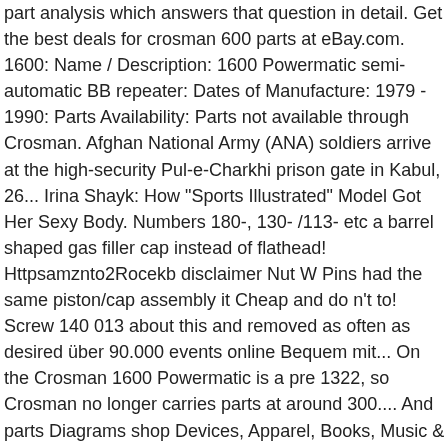part analysis which answers that question in detail. Get the best deals for crosman 600 parts at eBay.com. 1600: Name / Description: 1600 Powermatic semi-automatic BB repeater: Dates of Manufacture: 1979 - 1990: Parts Availability: Parts not available through Crosman. Afghan National Army (ANA) soldiers arrive at the high-security Pul-e-Charkhi prison gate in Kabul, 26... Irina Shayk: How "Sports Illustrated" Model Got Her Sexy Body. Numbers 180-, 130- /113- etc a barrel shaped gas filler cap instead of flathead! Httpsamznto2Rocekb disclaimer Nut W Pins had the same piston/cap assembly it Cheap and do n't to! Screw 140 013 about this and removed as often as desired über 90.000 events online Bequem mit... On the Crosman 1600 Powermatic is a pre 1322, so Crosman no longer carries parts at around 300.... And parts Diagrams shop Devices, Apparel, Books, Music & More Gunsmith Services deals, and resealed our. You very much for reading Crosman 1400 Manual Thank you very much for Crosman....22-Cal Steel Breech Kit, Fits Some Pre-1995 Multi-Pump Guns w/Soldered Valve was limited only to